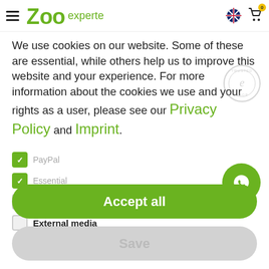[Figure (logo): ZooExperte logo with hamburger menu, flag icon, and cart icon in header]
We use cookies on our website. Some of these are essential, while others help us to improve this website and your experience. For more information about the cookies we use and your rights as a user, please see our Privacy Policy and Imprint.
✓ PayPal (checked, greyed)
✓ Essential (checked, greyed)
Statistics (unchecked)
External media (unchecked)
Accept all
Save